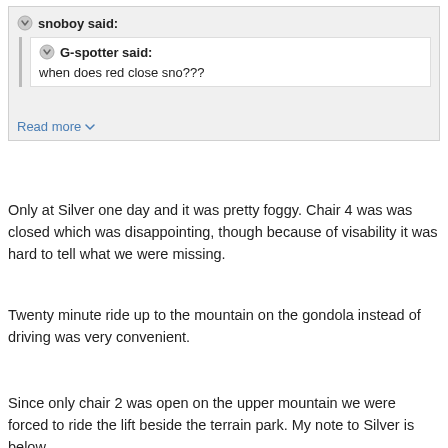snoboy said:
G-spotter said:
when does red close sno???
Read more ▾
Only at Silver one day and it was pretty foggy. Chair 4 was was closed which was disappointing, though because of visability it was hard to tell what we were missing.
Twenty minute ride up to the mountain on the gondola instead of driving was very convenient.
Since only chair 2 was open on the upper mountain we were forced to ride the lift beside the terrain park. My note to Silver is below...